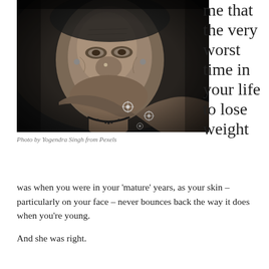[Figure (photo): Black and white portrait photograph of an elderly Indian woman with deeply wrinkled face, wearing jewelry including earrings and a nose ring, with decorative white patterns (mehndi/henna) visible on her hand/arm, resting her chin on her hand. The photo has a dark, moody background.]
Photo by Yogendra Singh from Pexels
me that the very worst time in your life to lose weight
was when you were in your 'mature' years, as your skin – particularly on your face – never bounces back the way it does when you're young.
And she was right.